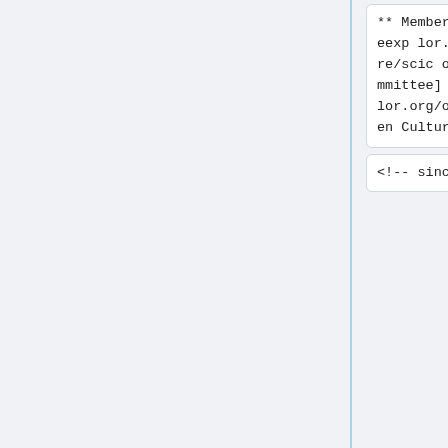** Member of the [http://eexplor.org/open-culture/scicomm Scientific Committee] of [http://eexplor.org/open-culture/ Open Culture]
** Member of the [http://eexplor.org/open-culture/scicomm Scientific Committee] of [http://eexplor.org/open-culture/ Open Culture]
<!-- since 11/8/06 -->
<!-- since 11/8/06 -->
** Member of the [http://web.